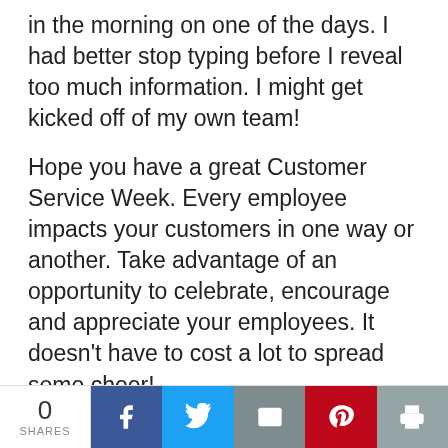in the morning on one of the days.  I had better stop typing before I reveal too much information.  I might get kicked off of my own team!
Hope you have a great Customer Service Week.  Every employee impacts your customers in one way or another.  Take advantage of an opportunity to celebrate, encourage and appreciate your employees.  It doesn't have to cost a lot to spread some cheer!
------------------------
0 SHARES | Facebook | Twitter | Email | Pinterest | Print